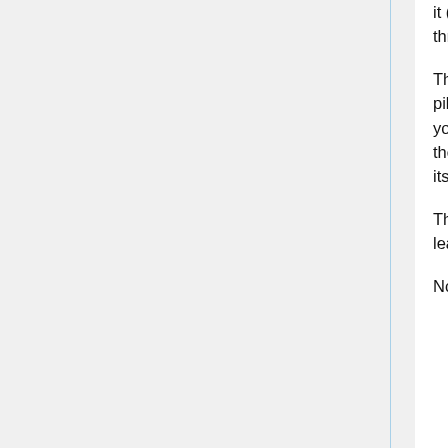it (for the pilot drill), I contemplated drilling that out and tapping it to take some threaded rod which I did have in stock.
Then after a moment of lateral thought - I thought "hang on, you can move that pilot drill by freeing a grub screw. What if you poke it out of the back?" "Oh look you can grip that in a chuck - if only it were long enough to poke out the back and the front at the same time! Eureka, swap out the pilot for a 150mm long 6mm bit - its a slightly lose fit in the hole, but close enough".
The end result was that the time to drill hole was 2 mins. The time to get started at least 2 hours!
Now I went to fit the boss. I solvent welded in a reducer, and hooked up